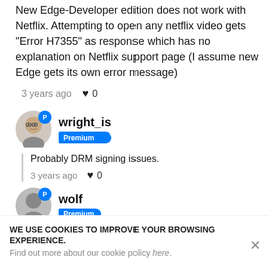New Edge-Developer edition does not work with Netflix. Attempting to open any netflix video gets "Error H7355" as response which has no explanation on Netflix support page (I assume new Edge gets its own error message)
3 years ago ♥ 0
wright_is Premium
Probably DRM signing issues.
3 years ago ♥ 0
wolf Premium
Just tried it now. Works fine on the
WE USE COOKIES TO IMPROVE YOUR BROWSING EXPERIENCE. Find out more about our cookie policy here.